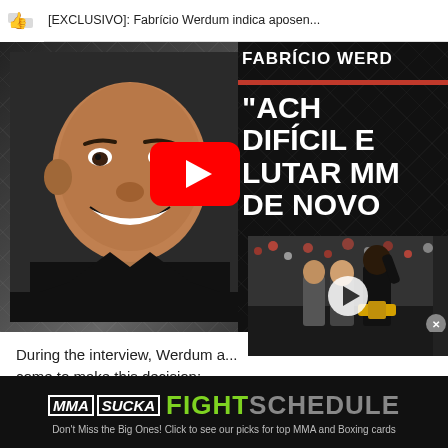[EXCLUSIVO]: Fabrício Werdum indica aposen...
[Figure (screenshot): YouTube thumbnail showing Fabrício Werdum smiling with text overlay: FABRÍCIO WERD... and quotes ACH DIFÍCIL E LUTAR MM DE NOVO with YouTube play button overlay]
[Figure (screenshot): Side video thumbnail showing Israel Adesanya with UFC belt with play button]
During the interview, Werdum a... come to make this decision:
[Figure (infographic): MMA Sucka Fight Schedule advertisement banner. Text: MMA SUCKA FIGHT SCHEDULE. Don't Miss the Big Ones! Click to see our picks for top MMA and Boxing cards]